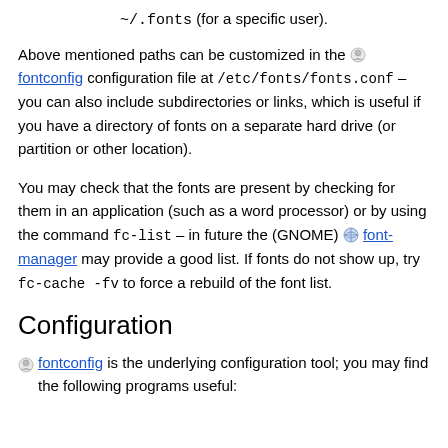~/.fonts (for a specific user).
Above mentioned paths can be customized in the fontconfig configuration file at /etc/fonts/fonts.conf – you can also include subdirectories or links, which is useful if you have a directory of fonts on a separate hard drive (or partition or other location).
You may check that the fonts are present by checking for them in an application (such as a word processor) or by using the command fc-list – in future the (GNOME) font-manager may provide a good list. If fonts do not show up, try fc-cache -fv to force a rebuild of the font list.
Configuration
fontconfig is the underlying configuration tool; you may find the following programs useful: